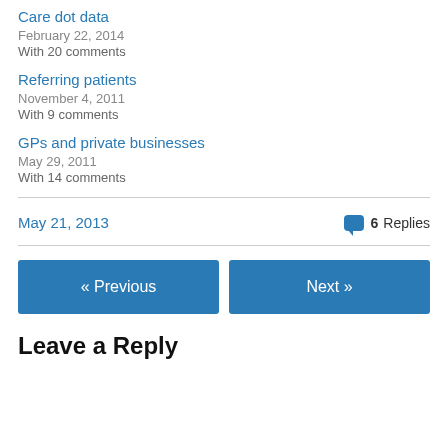Care dot data
February 22, 2014
With 20 comments
Referring patients
November 4, 2011
With 9 comments
GPs and private businesses
May 29, 2011
With 14 comments
May 21, 2013
6 Replies
« Previous
Next »
Leave a Reply